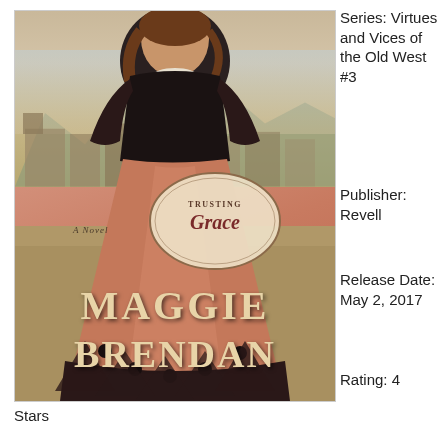[Figure (illustration): Book cover for 'Trusting Grace' by Maggie Brendan. Shows a woman in a Victorian-era pink/salmon dress with black trim standing on a dirt street in an Old West town. Mountains visible in background. Title appears in an oval medallion. Author name in large cream letters at bottom.]
Series: Virtues and Vices of the Old West #3
Publisher: Revell
Release Date: May 2, 2017
Rating: 4 Stars